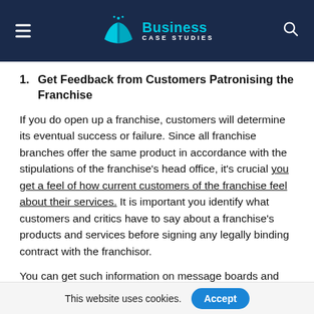Business Case Studies
1. Get Feedback from Customers Patronising the Franchise
If you do open up a franchise, customers will determine its eventual success or failure. Since all franchise branches offer the same product in accordance with the stipulations of the franchise's head office, it's crucial you get a feel of how current customers of the franchise feel about their services. It is important you identify what customers and critics have to say about a franchise's products and services before signing any legally binding contract with the franchisor.
You can get such information on message boards and
This website uses cookies. Accept